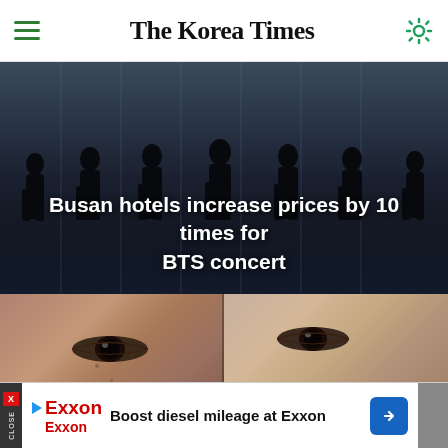The Korea Times
[Figure (photo): Dark silhouette of 7 people standing against a dark blue/grey background, resembling BTS members]
Busan hotels increase prices by 10 times for BTS concert
[Figure (photo): Close-up of two faces showing eyes, side by side — appears to be virtual or AI-rendered characters]
Boost diesel mileage at Exxon Exxon